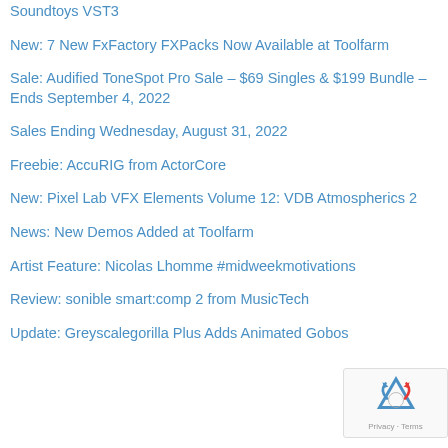Soundtoys VST3
New: 7 New FxFactory FXPacks Now Available at Toolfarm
Sale: Audified ToneSpot Pro Sale – $69 Singles & $199 Bundle – Ends September 4, 2022
Sales Ending Wednesday, August 31, 2022
Freebie: AccuRIG from ActorCore
New: Pixel Lab VFX Elements Volume 12: VDB Atmospherics 2
News: New Demos Added at Toolfarm
Artist Feature: Nicolas Lhomme #midweekmotivations
Review: sonible smart:comp 2 from MusicTech
Update: Greyscalegorilla Plus Adds Animated Gobos